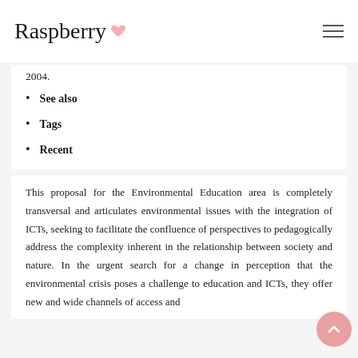Raspberry
2004.
See also
Tags
Recent
This proposal for the Environmental Education area is completely transversal and articulates environmental issues with the integration of ICTs, seeking to facilitate the confluence of perspectives to pedagogically address the complexity inherent in the relationship between society and nature. In the urgent search for a change in perception that the environmental crisis poses a challenge to education and ICTs, they offer new and wide channels of access and